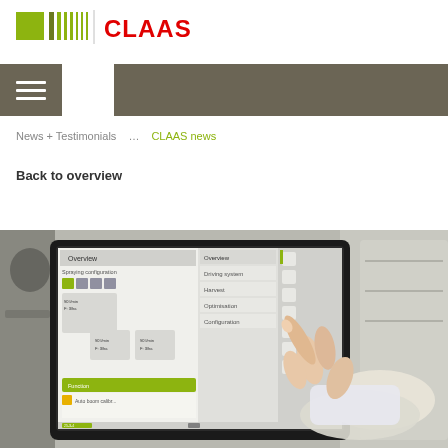[Figure (logo): CLAAS company logo with green square and vertical bars on the left, red CLAAS text on the right]
navigation bar with hamburger menu icon and white box
News + Testimonials ... CLAAS news
Back to overview
[Figure (photo): Close-up photo of a person's hand touching a touchscreen display showing a tractor configuration software interface with CLAAS styling, green and grey UI elements]